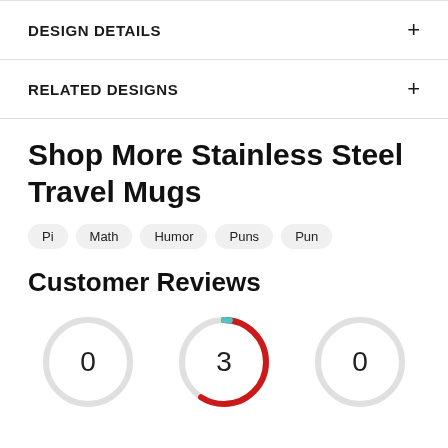DESIGN DETAILS
RELATED DESIGNS
Shop More Stainless Steel Travel Mugs
Pi
Math
Humor
Puns
Pun
Customer Reviews
[Figure (donut-chart): Three circular gauge/donut charts showing customer review metrics. Left circle shows '0' with light gray ring. Center circle shows '3' with a dark red/crimson arc covering most of the ring. Right circle shows '0' with light gray ring.]